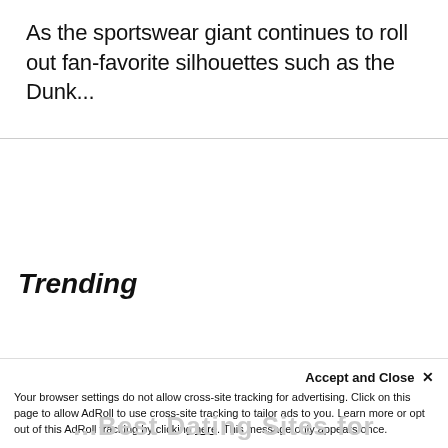As the sportswear giant continues to roll out fan-favorite silhouettes such as the Dunk...
Trending
Accept and Close ✕
Your browser settings do not allow cross-site tracking for advertising. Click on this page to allow AdRoll to use cross-site tracking to tailor ads to you. Learn more or opt out of this AdRoll tracking by clicking here. This message only appears once.